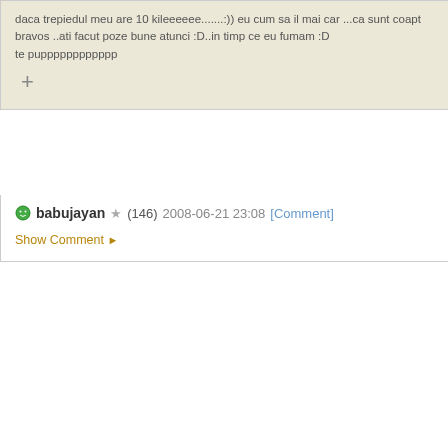daca trepiedul meu are 10 kileeeeee.......:)) eu cum sa il mai car ...ca sunt coapt bravos ..ati facut poze bune atunci :D..in timp ce eu fumam :D te pupppppppppppp
+
babujayan (146) 2008-06-21 23:08 [Comment]
Show Comment ▶